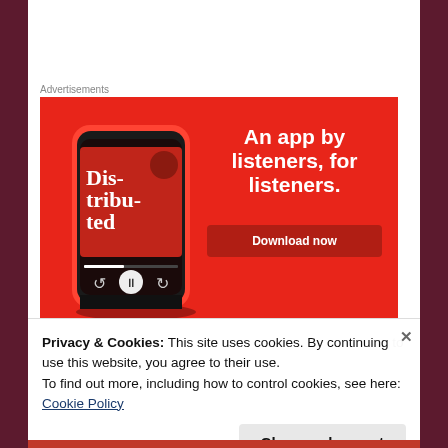Advertisements
[Figure (screenshot): Advertisement banner with red background. Shows a smartphone with a podcast app displaying 'Distributed' podcast cover art. Text on right reads 'An app by listeners, for listeners.' with a 'Download now' dark red button.]
Privacy & Cookies: This site uses cookies. By continuing to use this website, you agree to their use.
To find out more, including how to control cookies, see here:
Cookie Policy
Close and accept